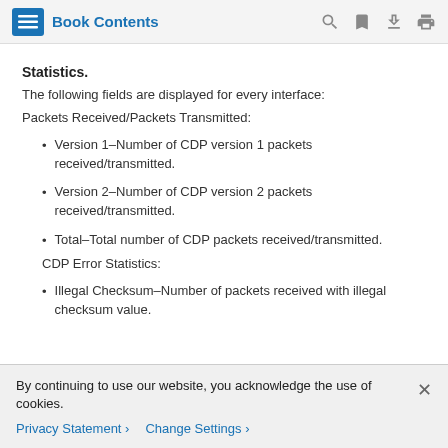Book Contents
Statistics.
The following fields are displayed for every interface:
Packets Received/Packets Transmitted:
Version 1–Number of CDP version 1 packets received/transmitted.
Version 2–Number of CDP version 2 packets received/transmitted.
Total–Total number of CDP packets received/transmitted.
CDP Error Statistics:
Illegal Checksum–Number of packets received with illegal checksum value.
By continuing to use our website, you acknowledge the use of cookies.
Privacy Statement > Change Settings >